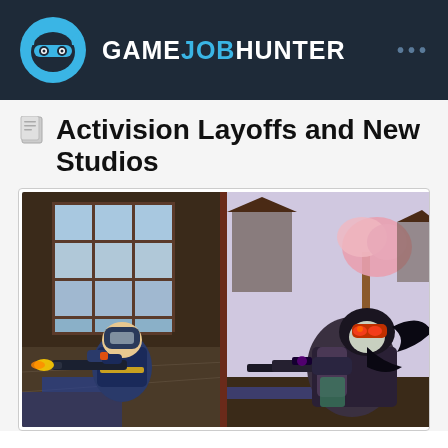GAMEJOBHUNTER
Activision Layoffs and New Studios
[Figure (screenshot): Screenshot from Overwatch video game showing two characters aiming weapons in a Japanese-themed environment with cherry blossom trees]